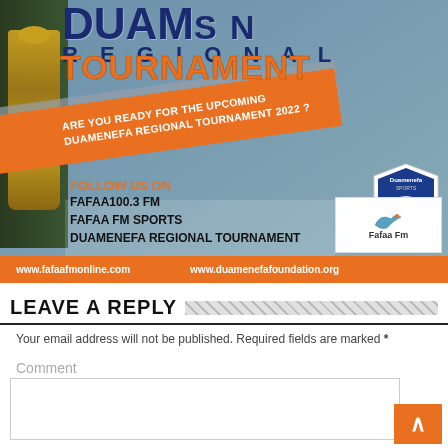[Figure (illustration): Duamenefa Regional Tournament 2022 promotional banner. Dark blue and orange bold text reads 'DUAM... REGIONAL TOURNAMENT'. An orange diagonal stripe reads 'ARE YOU READY FOR THE UPCOMING DUAMENEFA REGIONAL TOURNAMENT 2022?'. Bottom section shows 'FOLLOW US ON FAFAA100.3 FM / FAFAA FM SPORTS / DUAMENEFA REGIONAL TOURNAMENT'. A Duamenefa Sports shield logo and Fafaa Fm radio logo are visible. Orange bottom bar shows website URLs: www.fafaafmonline.com and www.duamenefafoundation.org.]
LEAVE A REPLY
Your email address will not be published. Required fields are marked *
Comment